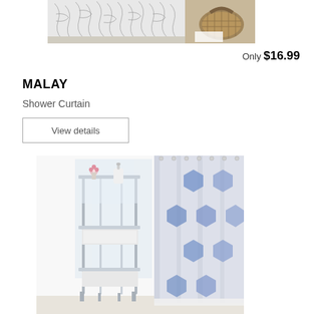[Figure (photo): Top portion of a shower curtain with black leaf/palm pattern on white background, with a wicker basket visible in the top right corner]
Only $16.99
MALAY
Shower Curtain
View details
[Figure (photo): Bathroom scene showing a blue geometric patterned shower curtain hanging next to a chrome and glass shelving unit with pink flowers and a soap dispenser on top shelf and towels on lower shelves]